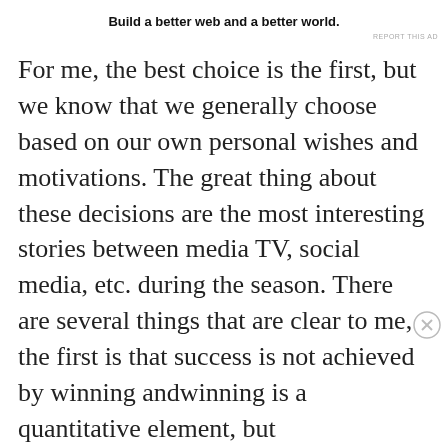Build a better web and a better world.
For me, the best choice is the first, but we know that we generally choose based on our own personal wishes and motivations. The great thing about these decisions are the most interesting stories between media TV, social media, etc. during the season. There are several things that are clear to me, the first is that success is not achieved by winning andwinning is a quantitative element, but
Advertisements
[Figure (other): Longreads advertisement banner with dark red background. Shows Longreads logo and tagline: The best stories on the web – ours, and everyone else's.]